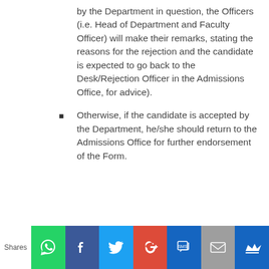by the Department in question, the Officers (i.e. Head of Department and Faculty Officer) will make their remarks, stating the reasons for the rejection and the candidate is expected to go back to the Desk/Rejection Officer in the Admissions Office, for advice).
Otherwise, if the candidate is accepted by the Department, he/she should return to the Admissions Office for further endorsement of the Form.